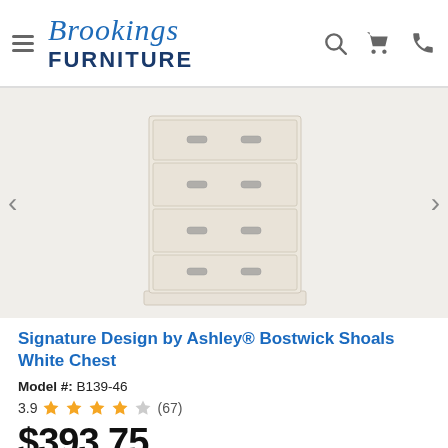Brookings Furniture
[Figure (photo): White 4-drawer chest of drawers (Bostwick Shoals White Chest) with silver handles, on white background]
Signature Design by Ashley® Bostwick Shoals White Chest
Model #: B139-46
3.9 ★★★★☆ (67)
$393.75